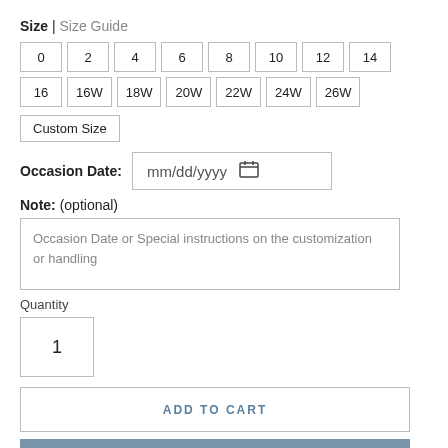Size | Size Guide
0 2 4 6 8 10 12 14 16 16W 18W 20W 22W 24W 26W
Custom Size
Occasion Date: mm/dd/yyyy
Note: (optional)
Occasion Date or Special instructions on the customization or handling
Quantity
1
ADD TO CART
BUY IT NOW